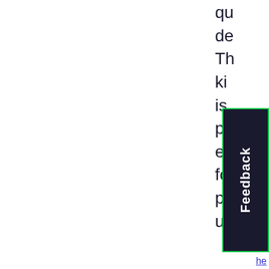qu de Th ki is pr eq fo pr us wh wa a fu
[Figure (other): Feedback button — dark navy rectangle with green border, white vertical text reading 'Feedback']
he